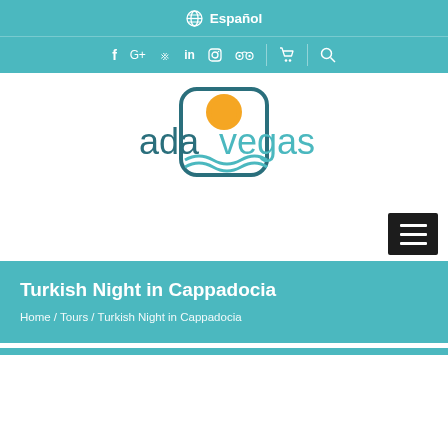🌐 Español
[Figure (logo): Social media icons bar with facebook, google+, pinterest, linkedin, instagram, tripadvisor icons, cart icon, and search icon on teal background]
[Figure (logo): Adavegas logo: stylized text 'adavegas' with a sun and water waves inside a rounded square border]
[Figure (other): Dark hamburger menu button with three horizontal white lines]
Turkish Night in Cappadocia
Home / Tours / Turkish Night in Cappadocia